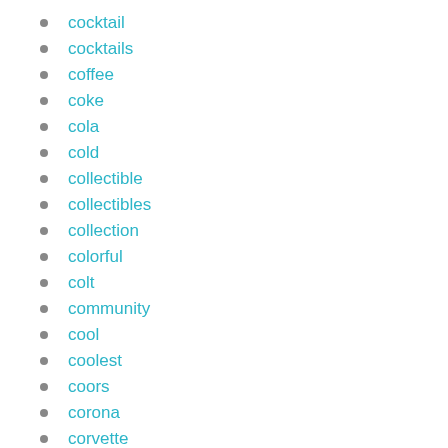cocktail
cocktails
coffee
coke
cola
cold
collectible
collectibles
collection
colorful
colt
community
cool
coolest
coors
corona
corvette
cr095
create
cricut